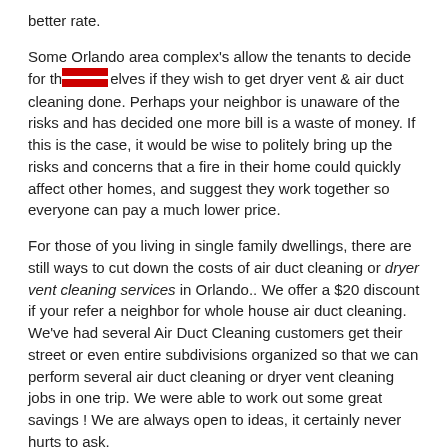better rate.
Some Orlando area complex's allow the tenants to decide for themselves if they wish to get dryer vent & air duct cleaning done. Perhaps your neighbor is unaware of the risks and has decided one more bill is a waste of money. If this is the case, it would be wise to politely bring up the risks and concerns that a fire in their home could quickly affect other homes, and suggest they work together so everyone can pay a much lower price.
For those of you living in single family dwellings, there are still ways to cut down the costs of air duct cleaning or dryer vent cleaning services in Orlando.. We offer a $20 discount if your refer a neighbor for whole house air duct cleaning. We've had several Air Duct Cleaning customers get their street or even entire subdivisions organized so that we can perform several air duct cleaning or dryer vent cleaning jobs in one trip. We were able to work out some great savings ! We are always open to ideas, it certainly never hurts to ask.
Please don't hesitate to contact us for any questions, we enjoy our job and helping people!